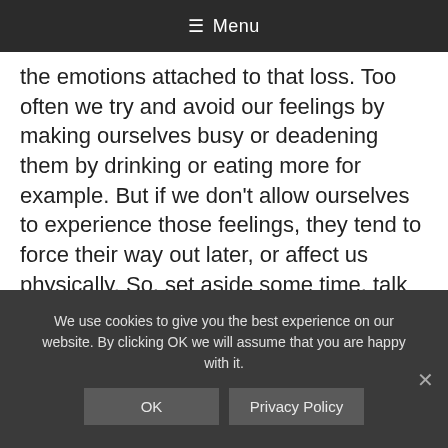≡ Menu
the emotions attached to that loss. Too often we try and avoid our feelings by making ourselves busy or deadening them by drinking or eating more for example. But if we don't allow ourselves to experience those feelings, they tend to force their way out later, or affect us physically. So, set aside some time, talk to someone or write your feelings down in a journal. Get it all out. The key here is to put a time limit on it, then plan something nice to do afterwards, and move forwards. Our brains
We use cookies to give you the best experience on our website. By clicking OK we will assume that you are happy with it.
OK
Privacy Policy